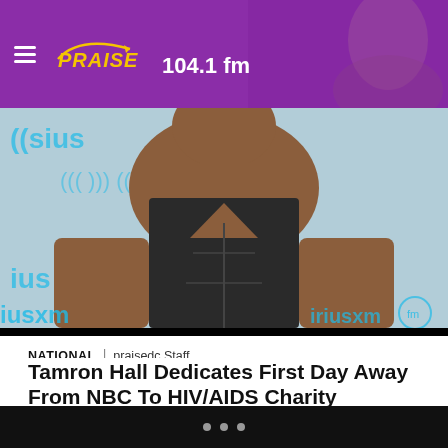PRAISE 104.1 fm
[Figure (photo): Person in black leather vest at SiriusXM event, upper body cropped]
NATIONAL | praisedc Staff
Tamron Hall Dedicates First Day Away From NBC To HIV/AIDS Charity
The 46-year-old news anchor donated her Jimmy Choos and work clothes to New York City's Housing Works.
[Figure (photo): Outdoor scene with person raising fist against blue sky, protest or event]
• • •